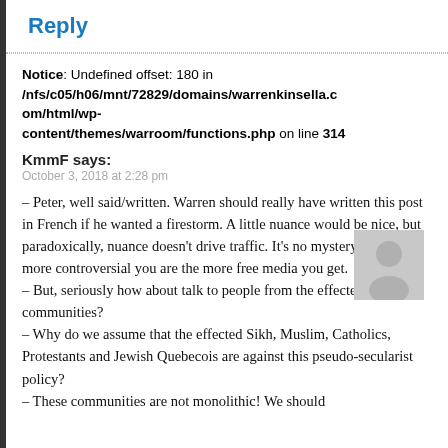Reply
Notice: Undefined offset: 180 in /nfs/c05/h06/mnt/72829/domains/warrenkinsella.com/html/wp-content/themes/warroom/functions.php on line 314
KmmF says:
October 3, 2018 at 2:28 pm
– Peter, well said/written. Warren should really have written this post in French if he wanted a firestorm. A little nuance would be nice, but paradoxically, nuance doesn't drive traffic. It's no mystery that the more controversial you are the more free media you get.
– But, seriously how about talk to people from the effected communities?
– Why do we assume that the effected Sikh, Muslim, Catholics, Protestants and Jewish Quebecois are against this pseudo-secularist policy?
– These communities are not monolithic! We should